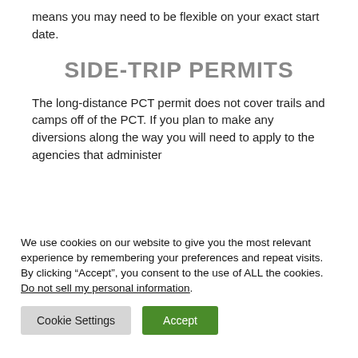means you may need to be flexible on your exact start date.
SIDE-TRIP PERMITS
The long-distance PCT permit does not cover trails and camps off of the PCT. If you plan to make any diversions along the way you will need to apply to the agencies that administer those trails and camps you wish to visit.
We use cookies on our website to give you the most relevant experience by remembering your preferences and repeat visits. By clicking “Accept”, you consent to the use of ALL the cookies. Do not sell my personal information.